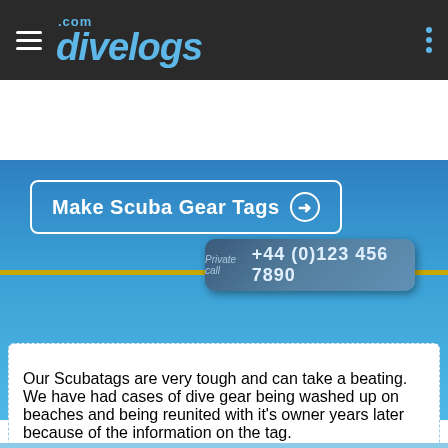divelogs.com
[Figure (screenshot): Blue banner with Make Scuba Gear Tags button and a scuba tag showing phone number +44 (0)123 456 7890]
Our Scubatags are very tough and can take a beating. We have had cases of dive gear being washed up on beaches and being reunited with it's owner years later because of the information on the tag.
Our laser engraver physically etches away the colour surface to create your gear tag. The surface would have to be practically destroyed to remove the information.
Each scuba gear tag is smaller than a credit card at 63mm by 38mm (2.5 by 1.5 inches) and 3mm thick (1/10 of an inch).